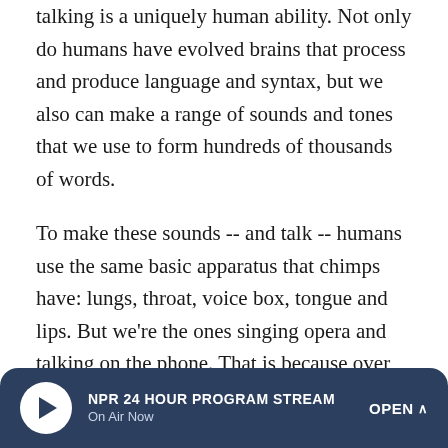talking is a uniquely human ability. Not only do humans have evolved brains that process and produce language and syntax, but we also can make a range of sounds and tones that we use to form hundreds of thousands of words.
To make these sounds -- and talk -- humans use the same basic apparatus that chimps have: lungs, throat, voice box, tongue and lips. But we're the ones singing opera and talking on the phone. That is because over thousands of years, humans have evolved a longer throat and smaller mouth better suited for shaping sound.
Vocal Acrobatics
Humans have flexibility in the mouth, tongue and lips that
NPR 24 HOUR PROGRAM STREAM — On Air Now — OPEN